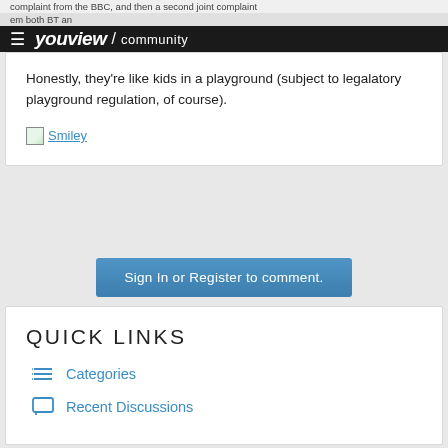complaint from the BBC, and then a second joint complaint em both BT an... youview / community
Honestly, they're like kids in a playground (subject to legalatory playground regulation, of course).
[Figure (illustration): Smiley face emoticon image with broken image icon and blue link text 'Smiley']
Sign In or Register to comment.
QUICK LINKS
Categories
Recent Discussions